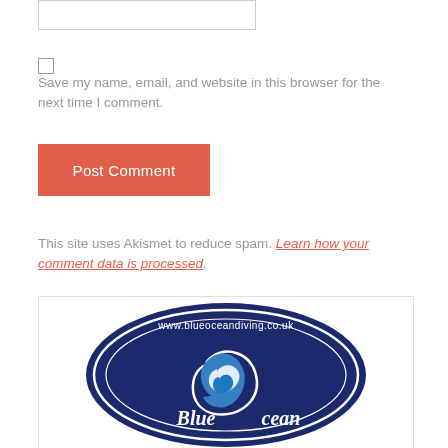[input box]
Save my name, email, and website in this browser for the next time I comment.
Post Comment
This site uses Akismet to reduce spam. Learn how your comment data is processed.
[Figure (logo): Blue Ocean Diving logo — circular dark navy badge with wave graphic and text 'www.blueoceandiving.co.uk' and 'Blue Ocean']